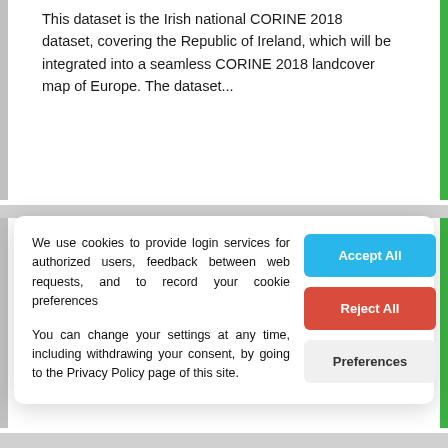This dataset is the Irish national CORINE 2018 dataset, covering the Republic of Ireland, which will be integrated into a seamless CORINE 2018 landcover map of Europe. The dataset...
Corine Landcover Change 2012 - 2018 (ITM)
We use cookies to provide login services for authorized users, feedback between web requests, and to record your cookie preferences
You can change your settings at any time, including withdrawing your consent, by going to the Privacy Policy page of this site.